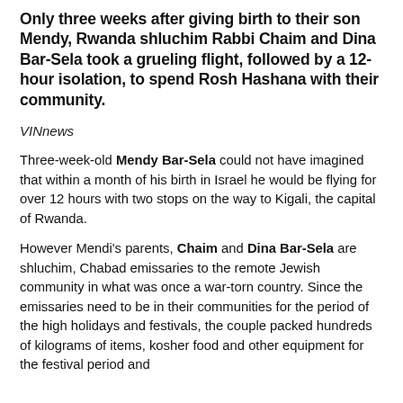Only three weeks after giving birth to their son Mendy, Rwanda shluchim Rabbi Chaim and Dina Bar-Sela took a grueling flight, followed by a 12-hour isolation, to spend Rosh Hashana with their community.
VINnews
Three-week-old Mendy Bar-Sela could not have imagined that within a month of his birth in Israel he would be flying for over 12 hours with two stops on the way to Kigali, the capital of Rwanda.
However Mendi's parents, Chaim and Dina Bar-Sela are shluchim, Chabad emissaries to the remote Jewish community in what was once a war-torn country. Since the emissaries need to be in their communities for the period of the high holidays and festivals, the couple packed hundreds of kilograms of items, kosher food and other equipment for the festival period and